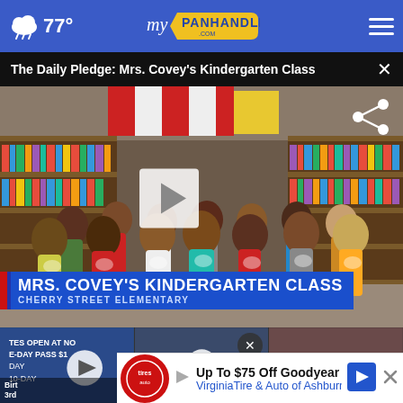77° mypanhandle.com
The Daily Pledge: Mrs. Covey's Kindergarten Class
[Figure (photo): Group of kindergarten children standing in a school library with hands over hearts, reciting the Pledge of Allegiance. Lower-third graphic reads MRS. COVEY'S KINDERGARTEN CLASS / CHERRY STREET ELEMENTARY]
MRS. COVEY'S KINDERGARTEN CLASS
CHERRY STREET ELEMENTARY
[Figure (screenshot): Three thumbnail video previews at the bottom of the screen showing other news stories]
Up To $75 Off Goodyear Tires — VirginiaTire & Auto of Ashburn Fa.